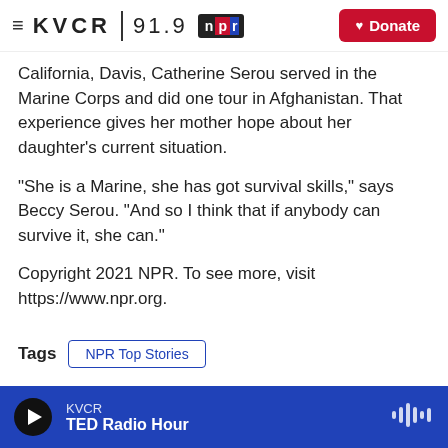KVCR 91.9 NPR | Donate
California, Davis, Catherine Serou served in the Marine Corps and did one tour in Afghanistan. That experience gives her mother hope about her daughter's current situation.
"She is a Marine, she has got survival skills," says Beccy Serou. "And so I think that if anybody can survive it, she can."
Copyright 2021 NPR. To see more, visit https://www.npr.org.
Tags  NPR Top Stories
KVCR  TED Radio Hour